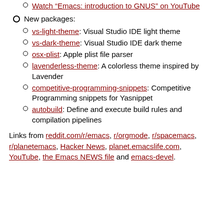Watch “Emacs: introduction to GNUS” on YouTube
New packages:
vs-light-theme: Visual Studio IDE light theme
vs-dark-theme: Visual Studio IDE dark theme
osx-plist: Apple plist file parser
lavenderless-theme: A colorless theme inspired by Lavender
competitive-programming-snippets: Competitive Programming snippets for Yasnippet
autobuild: Define and execute build rules and compilation pipelines
Links from reddit.com/r/emacs, r/orgmode, r/spacemacs, r/planetemacs, Hacker News, planet.emacslife.com, YouTube, the Emacs NEWS file and emacs-devel.